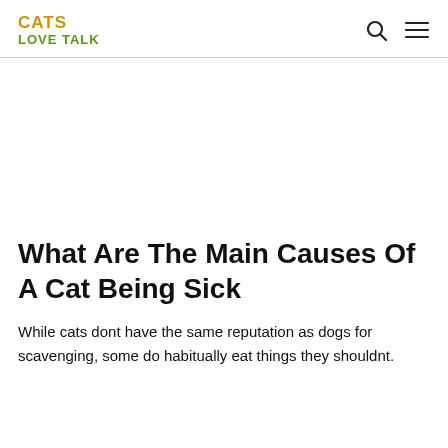CATS LOVE TALK
What Are The Main Causes Of A Cat Being Sick
While cats dont have the same reputation as dogs for scavenging, some do habitually eat things they shouldnt.